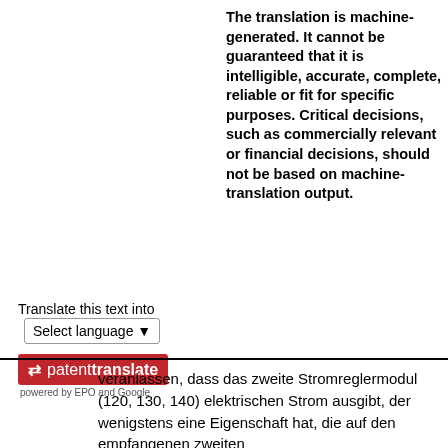Translate this text into [Select language ▾]
[Figure (logo): Patent Translate badge with red background, arrows icon, and 'patenttranslate powered by EPO and Google' text]
The translation is machine-generated. It cannot be guaranteed that it is intelligible, accurate, complete, reliable or fit for specific purposes. Critical decisions, such as commercially relevant or financial decisions, should not be based on machine-translation output.
veranlassen, dass das zweite Stromreglermodul (120, 130, 140) elektrischen Strom ausgibt, der wenigstens eine Eigenschaft hat, die auf den empfangenen zweiten Stromsteuerungsinformationen basiert.